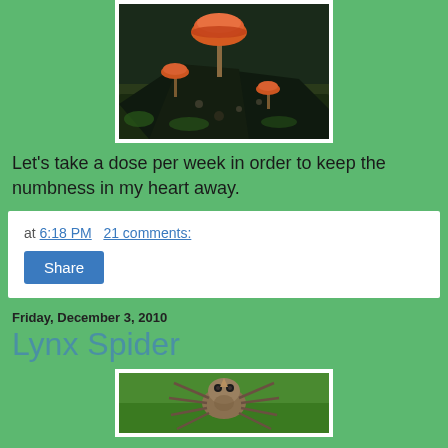[Figure (photo): Close-up macro photo of small orange/red mushrooms growing on dark wood or bark with moss]
Let's take a dose per week in order to keep the numbness in my heart away.
at 6:18 PM   21 comments:
Share
Friday, December 3, 2010
Lynx Spider
[Figure (photo): Close-up macro photo of a lynx spider facing the camera against a green background]